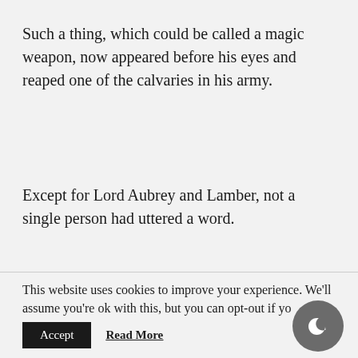Such a thing, which could be called a magic weapon, now appeared before his eyes and reaped one of the calvaries in his army.
Except for Lord Aubrey and Lamber, not a single person had uttered a word.
This website uses cookies to improve your experience. We'll assume you're ok with this, but you can opt-out if you wish.